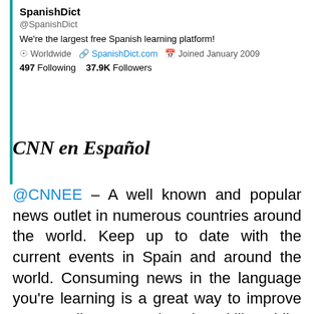SpanishDict
@SpanishDict
We're the largest free Spanish learning platform!
Worldwide  SpanishDict.com  Joined January 2009
497 Following  37.9K Followers
CNN en Español
@CNNEE – A well known and popular news outlet in numerous countries around the world. Keep up to date with the current events in Spain and around the world. Consuming news in the language you're learning is a great way to improve your reading comprehension skills, whilst also giving you a glimpse into the political and